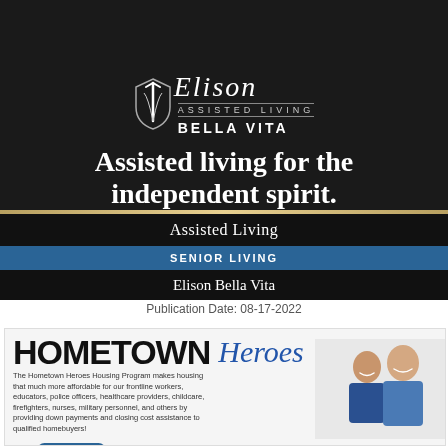[Figure (logo): Elison Assisted Living Bella Vita logo with shield icon on dark background, tagline 'Assisted living for the independent spirit.']
Assisted Living
SENIOR LIVING
Elison Bella Vita
Publication Date: 08-17-2022
[Figure (infographic): Hometown Heroes Housing Program advertisement with two smiling frontline workers, benefit information, and bullet points about lower first mortgage and down payment assistance.]